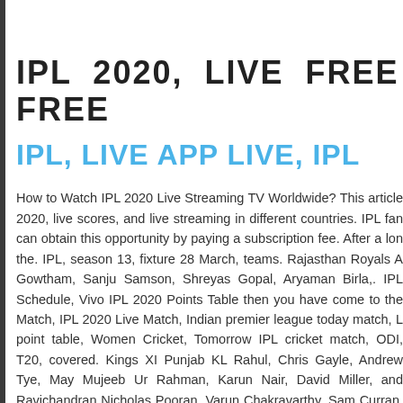IPL 2020, LIVE FREE IN M FREE
IPL, LIVE APP LIVE, IPL
How to Watch IPL 2020 Live Streaming TV Worldwide? This article 2020, live scores, and live streaming in different countries. IPL fan can obtain this opportunity by paying a subscription fee. After a lon the. IPL, season 13, fixture 28 March, teams. Rajasthan Royals A Gowtham, Sanju Samson, Shreyas Gopal, Aryaman Birla,. IPL Schedule, Vivo IPL 2020 Points Table then you have come to the Match, IPL 2020 Live Match, Indian premier league today match, L point table, Women Cricket, Tomorrow IPL cricket match, ODI, T20, covered. Kings XI Punjab KL Rahul, Chris Gayle, Andrew Tye, May Mujeeb Ur Rahman, Karun Nair, David Miller, and Ravichandran Nicholas Pooran, Varun Chakravarthy, Sam Curran, Mohammad Sh Viljoen, Arshdeep Singh, Darshan Nalkande. Sunrisers Hyderabad Kumar, Deepak Hooda, Manish Pandey, T Natarajan, Ricky Bhui, Kaul, Shreevats Goswami (wk Khaleel Ahmed, Yusuf Pathan, Bi Kane Williamson, Rashid Khan, Mohammad Nabi, Shakib A Wriddhiman Saha, Martin Guptill. Because IPL T20 cricket is the be and other countries. If you have any questions about IPL 2020